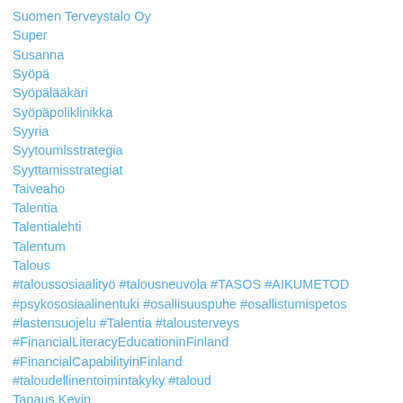Suomen Terveystalo Oy
Super
Susanna
Syöpä
Syöpälääkäri
Syöpäpoliklinikka
Syyria
Syytoumlsstrategia
Syyttamisstrategiat
Taiveaho
Talentia
Talentialehti
Talentum
Talous
#taloussosiaalityö #talousneuvola #TASOS #AIKUMETOD
#psykososiaalinentuki #osallisuuspuhe #osallistumispetos
#lastensuojelu #Talentia #talousterveys
#FinancialLiteracyEducationinFinland #FinancialCapabilityinFinland
#taloudellinentoimintakyky #taloud
Tapaus Kevin
Tarja Hiltunen